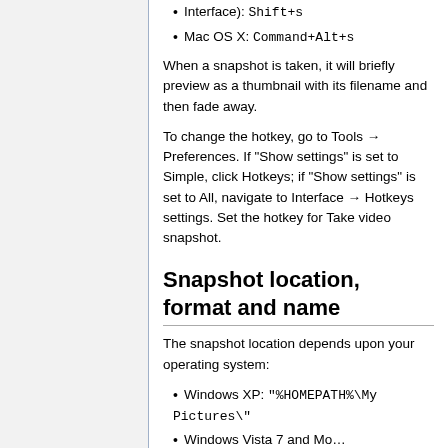Interface): Shift+s
Mac OS X: Command+Alt+s
When a snapshot is taken, it will briefly preview as a thumbnail with its filename and then fade away.
To change the hotkey, go to Tools → Preferences. If "Show settings" is set to Simple, click Hotkeys; if "Show settings" is set to All, navigate to Interface → Hotkeys settings. Set the hotkey for Take video snapshot.
Snapshot location, format and name
The snapshot location depends upon your operating system:
Windows XP: "%HOMEPATH%\My Pictures\"
Windows Vista 7 and Mo...